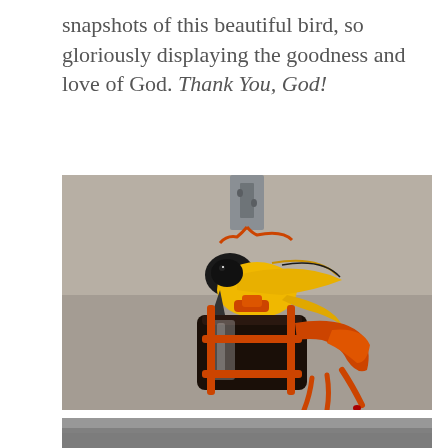snapshots of this beautiful bird, so gloriously displaying the goodness and love of God. Thank You, God!
[Figure (photo): A yellow and black oriole bird perched on an orange bird feeder (a cylindrical jar with orange plastic perches and frame) hanging from a metal bracket. The background is blurred gray-beige.]
[Figure (photo): Bottom portion of another photo, partially visible — appears to show a metallic or gray surface.]